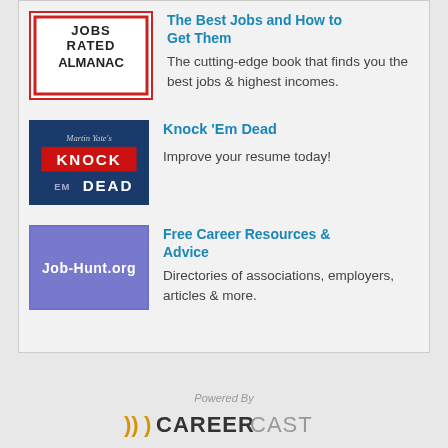[Figure (illustration): Jobs Rated Almanac book cover with red border]
The Best Jobs and How to Get Them
The cutting-edge book that finds you the best jobs & highest incomes.
[Figure (illustration): Martin Yate's Knock Em Dead book cover with dark blue and red background]
Knock 'Em Dead
Improve your resume today!
[Figure (illustration): Job-Hunt.org logo on purple background]
Free Career Resources & Advice
Directories of associations, employers, articles & more.
Powered By CAREERCAST